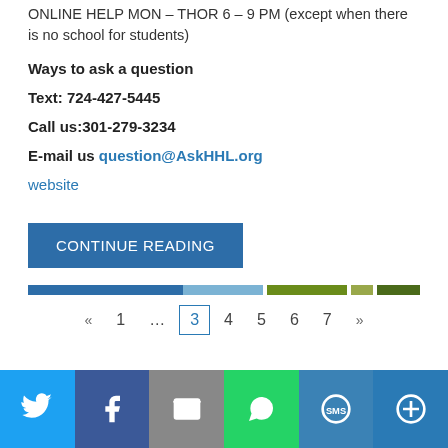ONLINE HELP MON – THOR 6 – 9 PM (except when there is no school for students)
Ways to ask a question
Text: 724-427-5445
Call us:301-279-3234
E-mail us question@AskHHL.org
website
[Figure (other): CONTINUE READING button (blue rectangle)]
[Figure (infographic): Colored horizontal progress/category bar with segments: blue, light blue, olive green, dark green, gray, dark olive]
« 1 … 3 4 5 6 7 »
[Figure (infographic): Social sharing bar with icons: Twitter (light blue), Facebook (dark blue), Email (gray), WhatsApp (green), SMS (blue), More (dark blue)]